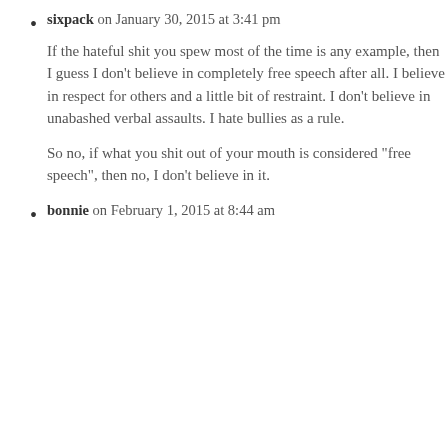sixpack on January 30, 2015 at 3:41 pm

If the hateful shit you spew most of the time is any example, then I guess I don’t believe in completely free speech after all. I believe in respect for others and a little bit of restraint. I don’t believe in unabashed verbal assaults. I hate bullies as a rule.

So no, if what you shit out of your mouth is considered “free speech”, then no, I don’t believe in it.
bonnie on February 1, 2015 at 8:44 am